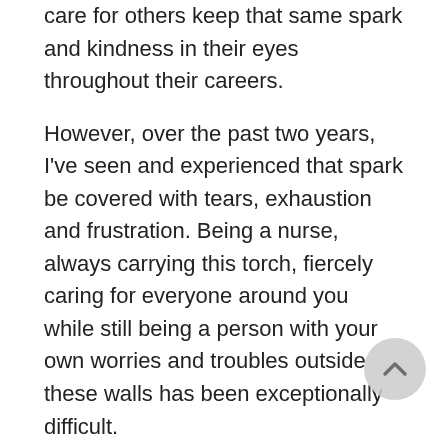care for others keep that same spark and kindness in their eyes throughout their careers.
However, over the past two years, I've seen and experienced that spark be covered with tears, exhaustion and frustration. Being a nurse, always carrying this torch, fiercely caring for everyone around you while still being a person with your own worries and troubles outside these walls has been exceptionally difficult.
During the pandemic, I've seen our nurses…
Thrown into nursing units to help with staffing with little warning and training but a fearless, dedicated attitude
Suffer from discomfort from wearing heavy PPE